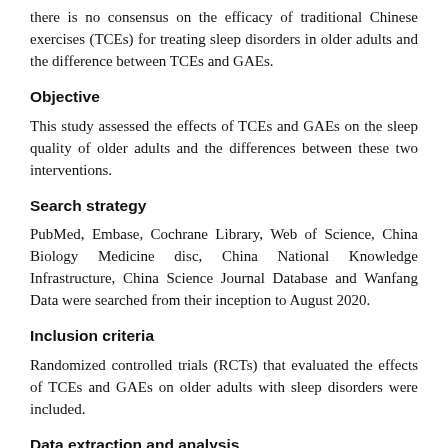there is no consensus on the efficacy of traditional Chinese exercises (TCEs) for treating sleep disorders in older adults and the difference between TCEs and GAEs.
Objective
This study assessed the effects of TCEs and GAEs on the sleep quality of older adults and the differences between these two interventions.
Search strategy
PubMed, Embase, Cochrane Library, Web of Science, China Biology Medicine disc, China National Knowledge Infrastructure, China Science Journal Database and Wanfang Data were searched from their inception to August 2020.
Inclusion criteria
Randomized controlled trials (RCTs) that evaluated the effects of TCEs and GAEs on older adults with sleep disorders were included.
Data extraction and analysis
Data were extracted by two researchers working independently.